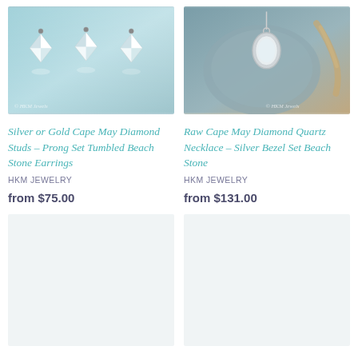[Figure (photo): Photo of silver or gold Cape May diamond crystal stud earrings on teal/silver background with copyright watermark]
Silver or Gold Cape May Diamond Studs - Prong Set Tumbled Beach Stone Earrings
HKM JEWELRY
from $75.00
[Figure (photo): Photo of raw Cape May diamond quartz necklace with silver bezel setting on stone background with copyright watermark]
Raw Cape May Diamond Quartz Necklace - Silver Bezel Set Beach Stone
HKM JEWELRY
from $131.00
[Figure (photo): Partially visible product image at bottom left (loading/placeholder)]
[Figure (photo): Partially visible product image at bottom right (loading/placeholder)]